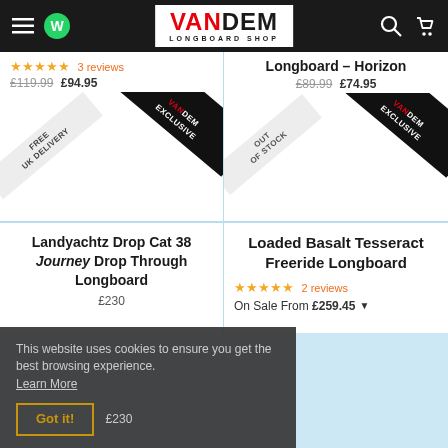VANDEM LONGBOARD SHOP
[Figure (screenshot): Product cell top-left with 5 stars, 3 reviews, prices £119.99 £94.95, FREE UK DELIVERY ribbon, VANDEM EXCLUSIVE ribbon]
[Figure (screenshot): Product cell top-right: Longboard - Horizon, £89.99 £74.95, OUT OF STOCK ribbon, VANDEM EXCLUSIVE ribbon]
Landyachtz Drop Cat 38 Journey Drop Through Longboard
Loaded Basalt Tesseract Freeride Longboard
2 reviews On Sale From £259.45
This website uses cookies to ensure you get the best browsing experience. Learn More Got it!